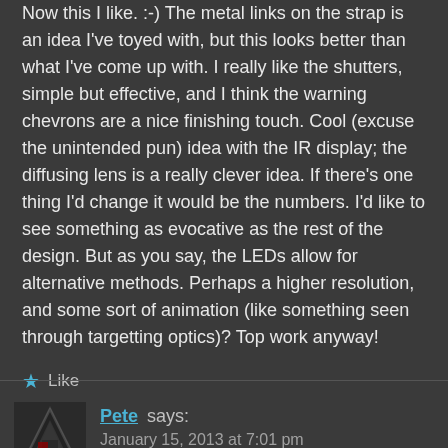Now this I like. :-) The metal links on the strap is an idea I've toyed with, but this looks better than what I've come up with. I really like the shutters, simple but effective, and I think the warning chevrons are a nice finishing touch. Cool (excuse the unintended pun) idea with the IR display; the diffusing lens is a really clever idea. If there's one thing I'd change it would be the numbers. I'd like to see something as evocative as the rest of the design. But as you say, the LEDs allow for alternative methods. Perhaps a higher resolution, and some sort of animation (like something seen through targetting optics)? Top work anyway!
Like
Pete says:
January 15, 2013 at 7:01 pm